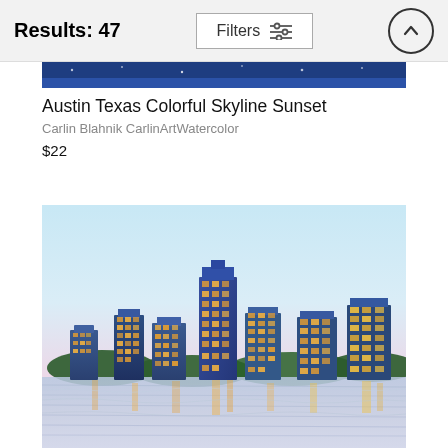Results: 47
[Figure (screenshot): Top navigation bar with Results: 47 label, Filters button with sliders icon, and circular scroll-up arrow button]
[Figure (photo): Partial view of Austin Texas Colorful Skyline Sunset watercolor painting - top strip showing dark blue night sky]
Austin Texas Colorful Skyline Sunset
Carlin Blahnik CarlinArtWatercolor
$22
[Figure (photo): Watercolor painting of Austin Texas city skyline at sunset/dusk with reflections on water below. Buildings lit up with warm orange and yellow lights against a soft pastel blue and pink sky. Green trees line the waterfront.]